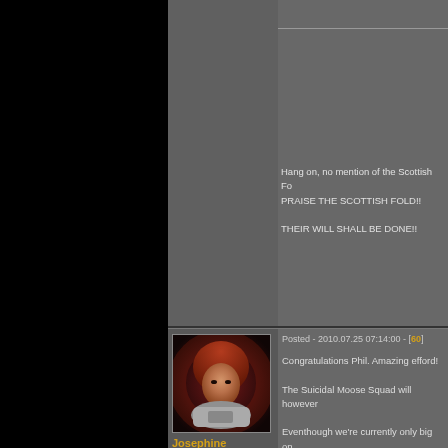Hang on, no mention of the Scottish Fo... PRAISE THE SCOTTISH FOLD!! THEIR WILL SHALL BE DONE!!
Posted - 2010.07.25 07:14:00 - [60]
Congratulations Phil. Amazing efford!
The Suicidal Moose Squad will however...
Eventhough we're currently only big on...
[Figure (photo): Avatar portrait of Josephine Charlotte, a female character with auburn/red hair and silver armor, against a dark red background with glowing effect]
Josephine Charlotte
Gallente
Suicidal Moose Squad
Copyright © 2006-2022, Chribba - OMG Labs. All Rights Reserved. EVE-Online™ and Eve imagery © CC... bitcoin: 1CHRiBBArqpw5Yz7x5KS2RRtN5...